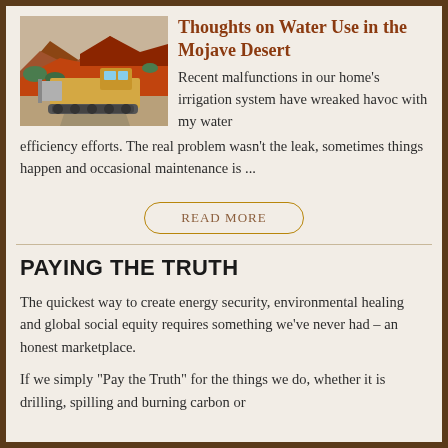Thoughts on Water Use in the Mojave Desert
[Figure (photo): A large bulldozer/construction vehicle on a dirt road through a mountainous landscape with red and brown rocky terrain and green vegetation]
Recent malfunctions in our home's irrigation system have wreaked havoc with my water efficiency efforts. The real problem wasn't the leak, sometimes things happen and occasional maintenance is ...
READ MORE
PAYING THE TRUTH
The quickest way to create energy security, environmental healing and global social equity requires something we've never had – an honest marketplace.
If we simply "Pay the Truth" for the things we do, whether it is drilling, spilling and burning carbon or